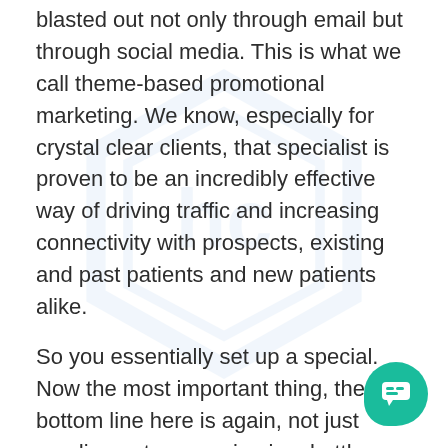blasted out not only through email but through social media. This is what we call theme-based promotional marketing. We know, especially for crystal clear clients, that specialist is proven to be an incredibly effective way of driving traffic and increasing connectivity with prospects, existing and past patients and new patients alike.
So you essentially set up a special. Now the most important thing, the bottom line here is again, not just sending out messaging in a bottle theme promotions. Do you have a mechanism or tracking in place that you have all of the data that you need to know in terms of what did that ad produce? What the email produce? So you should have a software in place or some kind of analytics or reporting. I'm sure